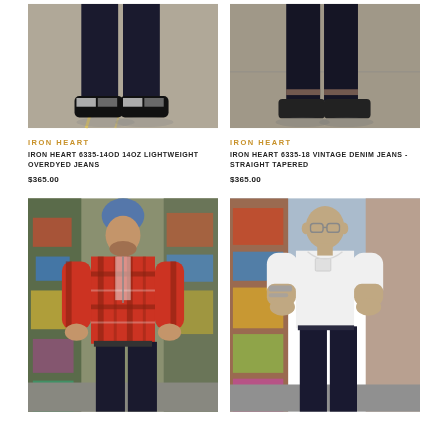[Figure (photo): Cropped photo of person wearing dark jeans and black sneakers on concrete floor]
IRON HEART
IRON HEART 6335-14OD 14OZ LIGHTWEIGHT OVERDYED JEANS
$365.00
[Figure (photo): Cropped photo of person wearing dark slim jeans with selvedge cuff and dark sneakers]
IRON HEART
IRON HEART 6335-18 VINTAGE DENIM JEANS - STRAIGHT TAPERED
$365.00
[Figure (photo): Full body photo of man wearing red plaid flannel shirt, blue beanie hat, and dark jeans in front of graffiti wall]
[Figure (photo): Full body photo of muscular man wearing white t-shirt and dark jeans in front of graffiti wall]